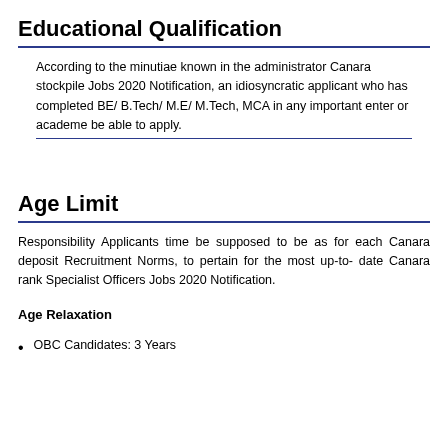Educational Qualification
According to the minutiae known in the administrator Canara stockpile Jobs 2020 Notification, an idiosyncratic applicant who has completed BE/ B.Tech/ M.E/ M.Tech, MCA in any important enter or academe be able to apply.
Age Limit
Responsibility Applicants time be supposed to be as for each Canara deposit Recruitment Norms, to pertain for the most up-to-date Canara rank Specialist Officers Jobs 2020 Notification.
Age Relaxation
OBC Candidates: 3 Years